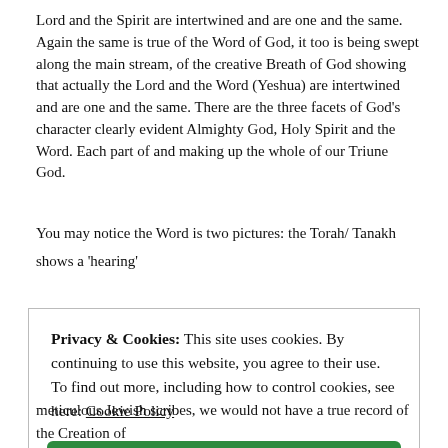Lord and the Spirit are intertwined and are one and the same. Again the same is true of the Word of God, it too is being swept along the main stream, of the creative Breath of God showing that actually the Lord and the Word (Yeshua) are intertwined and are one and the same. There are the three facets of God's character clearly evident Almighty God, Holy Spirit and the Word. Each part of and making up the whole of our Triune God.
You may notice the Word is two pictures: the Torah/ Tanakh shows a 'hearing' of the Word, as many Jews would go to their synagogue to 'hear' the Word, not many owned their own Torah / Tanakh.  In fact even today many Jews go to 'hear' the Word. The song Ruth wrote is about releasing the sound of Heaven
Privacy & Cookies: This site uses cookies. By continuing to use this website, you agree to their use. To find out more, including how to control cookies, see here: Cookie Policy
Close and accept
meticulous Jewish scribes, we would not have a true record of the Creation of